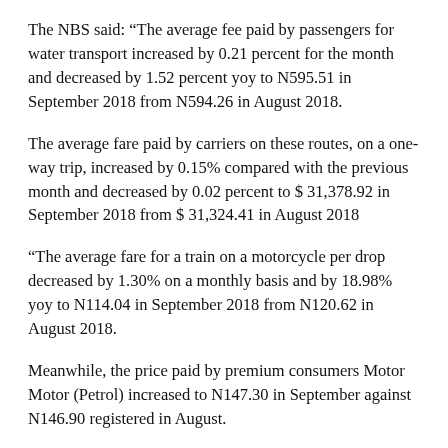The NBS said: “The average fee paid by passengers for water transport increased by 0.21 percent for the month and decreased by 1.52 percent yoy to N595.51 in September 2018 from N594.26 in August 2018.
The average fare paid by carriers on these routes, on a one-way trip, increased by 0.15% compared with the previous month and decreased by 0.02 percent to $ 31,378.92 in September 2018 from $ 31,324.41 in August 2018
“The average fare for a train on a motorcycle per drop decreased by 1.30% on a monthly basis and by 18.98% yoy to N114.04 in September 2018 from N120.62 in August 2018.
Meanwhile, the price paid by premium consumers Motor Motor (Petrol) increased to N147.30 in September against N146.90 registered in August.
According to the Bureau, the price of gasoline increased by 0.3% and to 1.9% yoy. The states with the highest average